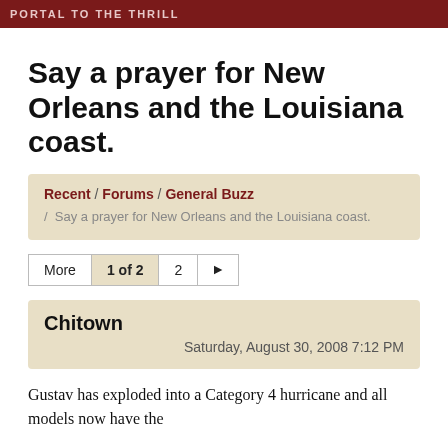PORTAL TO THE THRILL
Say a prayer for New Orleans and the Louisiana coast.
Recent / Forums / General Buzz / Say a prayer for New Orleans and the Louisiana coast.
More 1 of 2 2 ►
Chitown
Saturday, August 30, 2008 7:12 PM
Gustav has exploded into a Category 4 hurricane and all models now have the